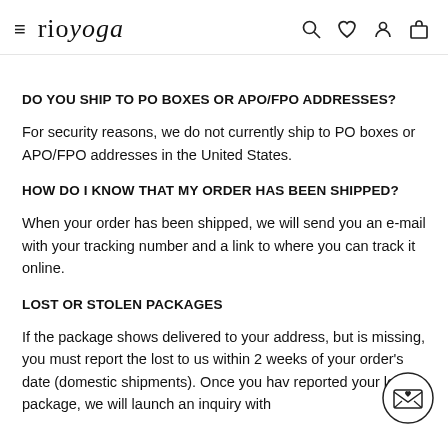rioyoga
DO YOU SHIP TO PO BOXES OR APO/FPO ADDRESSES?
For security reasons, we do not currently ship to PO boxes or APO/FPO addresses in the United States.
HOW DO I KNOW THAT MY ORDER HAS BEEN SHIPPED?
When your order has been shipped, we will send you an e-mail with your tracking number and a link to where you can track it online.
LOST OR STOLEN PACKAGES
If the package shows delivered to your address, but is missing, you must report the lost to us within 2 weeks of your order's date (domestic shipments). Once you have reported your lost package, we will launch an inquiry with